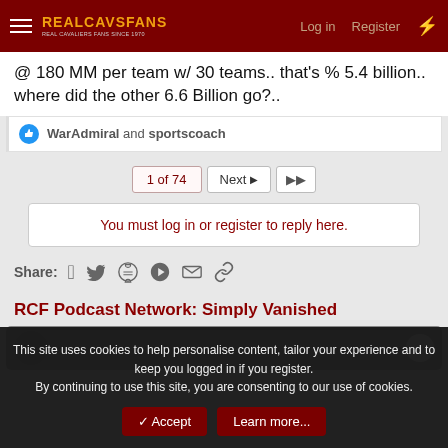RealCavsFans — Log in | Register
@ 180 MM per team w/ 30 teams.. that's % 5.4 billion.. where did the other 6.6 Billion go?..
WarAdmiral and sportscoach
1 of 74  Next  ▶▶
You must log in or register to reply here.
Share:  Facebook  Twitter  Reddit  Pinterest  Tumblr  WhatsApp  Email  Link
RCF Podcast Network: Simply Vanished
[Figure (photo): Podcast thumbnail banner, dark grey background with partial circular avatar image on left and white circle on right.]
This site uses cookies to help personalise content, tailor your experience and to keep you logged in if you register.
By continuing to use this site, you are consenting to our use of cookies.
✓ Accept  Learn more...